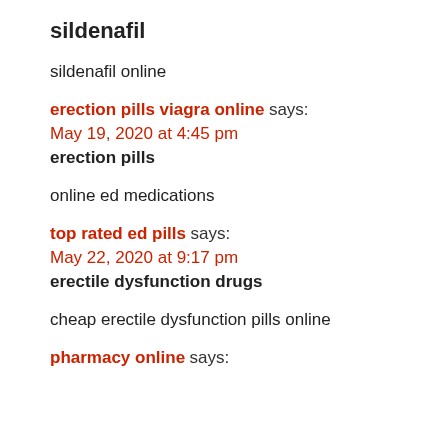sildenafil
sildenafil online
erection pills viagra online says:
May 19, 2020 at 4:45 pm
erection pills
online ed medications
top rated ed pills says:
May 22, 2020 at 9:17 pm
erectile dysfunction drugs
cheap erectile dysfunction pills online
pharmacy online says: